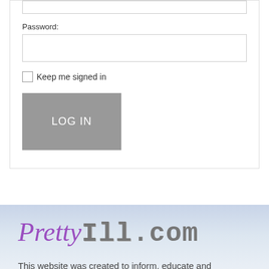[Figure (screenshot): Login form partial view showing a text input box at top, Password label with input field, Keep me signed in checkbox, and LOG IN button]
Password:
Keep me signed in
[Figure (logo): PrettyIll.com logo with 'Pretty' in purple italic script and 'Ill.com' in gray decorative monospace font]
This website was created to inform, educate and brainstorm with fellow patients and doctors. The content should not be used as a